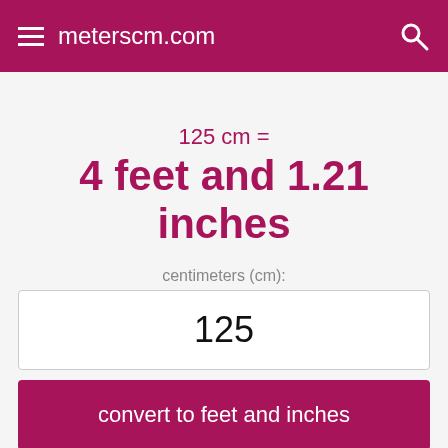meterscm.com
125 cm =
4 feet and 1.21 inches
centimeters (cm):
125
convert to feet and inches